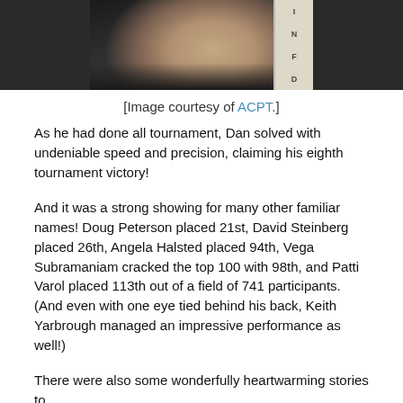[Figure (photo): Partial photo of a person in a black shirt, cropped showing upper body/arms, with what appears to be a crossword or letter board visible on the right side.]
[Image courtesy of ACPT.]
As he had done all tournament, Dan solved with undeniable speed and precision, claiming his eighth tournament victory!
And it was a strong showing for many other familiar names! Doug Peterson placed 21st, David Steinberg placed 26th, Angela Halsted placed 94th, Vega Subramaniam cracked the top 100 with 98th, and Patti Varol placed 113th out of a field of 741 participants. (And even with one eye tied behind his back, Keith Yarbrough managed an impressive performance as well!)
There were also some wonderfully heartwarming stories to